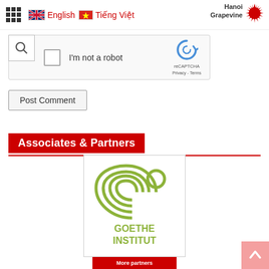English  Tiếng Việt  Hanoi Grapevine
[Figure (screenshot): reCAPTCHA widget with checkbox labeled 'I'm not a robot']
[Figure (other): Post Comment button]
Associates & Partners
[Figure (logo): Goethe Institut logo — olive-green spiral with circle forming a face, with bold text GOETHE INSTITUT]
[Figure (other): More partners button (partially visible at bottom)]
[Figure (other): Back to top button with upward chevron]